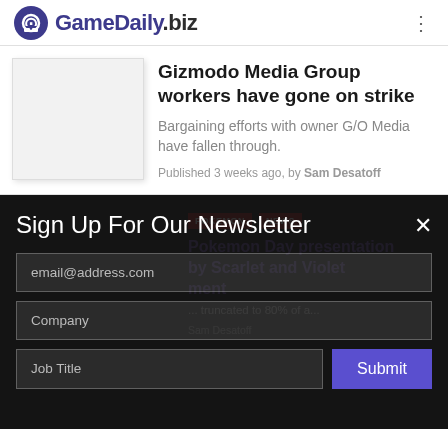GameDaily.biz
Gizmodo Media Group workers have gone on strike
Bargaining efforts with owner G/O Media have fallen through.
Published 3 weeks ago, by Sam Desatoff
Sign Up For Our Newsletter
email@address.com
Company
Job Title
Submit